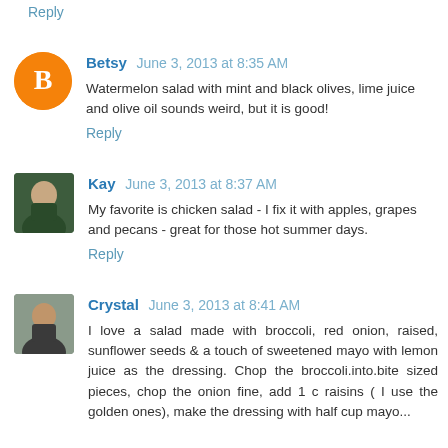Reply
Betsy  June 3, 2013 at 8:35 AM
Watermelon salad with mint and black olives, lime juice and olive oil sounds weird, but it is good!
Reply
Kay  June 3, 2013 at 8:37 AM
My favorite is chicken salad - I fix it with apples, grapes and pecans - great for those hot summer days.
Reply
Crystal  June 3, 2013 at 8:41 AM
I love a salad made with broccoli, red onion, raised, sunflower seeds & a touch of sweetened mayo with lemon juice as the dressing. Chop the broccoli.into.bite sized pieces, chop the onion fine, add 1 c raisins ( I use the golden ones), make the dressing with half cup mayo...